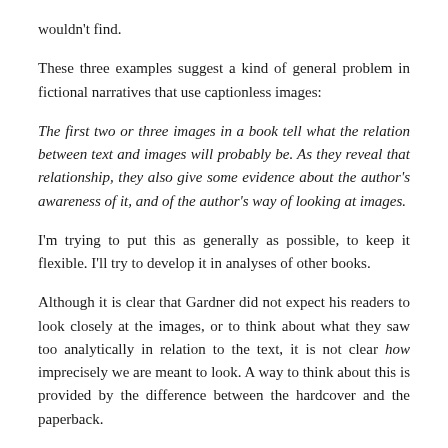wouldn't find.
These three examples suggest a kind of general problem in fictional narratives that use captionless images:
The first two or three images in a book tell what the relation between text and images will probably be. As they reveal that relationship, they also give some evidence about the author's awareness of it, and of the author's way of looking at images.
I'm trying to put this as generally as possible, to keep it flexible. I'll try to develop it in analyses of other books.
Although it is clear that Gardner did not expect his readers to look closely at the images, or to think about what they saw too analytically in relation to the text, it is not clear how imprecisely we are meant to look. A way to think about this is provided by the difference between the hardcover and the paperback.